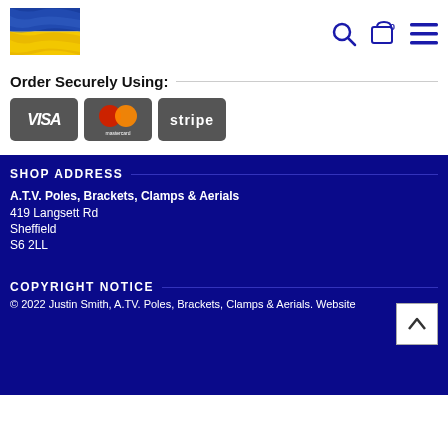[Figure (logo): Ukrainian flag logo (blue and yellow)]
[Figure (infographic): Header icons: search magnifying glass, shopping cart with badge '0', hamburger menu — all in dark blue]
Order Securely Using:
[Figure (infographic): Payment method icons: VISA, Mastercard, Stripe on dark grey background cards]
SHOP ADDRESS
A.T.V. Poles, Brackets, Clamps & Aerials
419 Langsett Rd
Sheffield
S6 2LL
COPYRIGHT NOTICE
© 2022 Justin Smith, A.TV. Poles, Brackets, Clamps & Aerials. Website